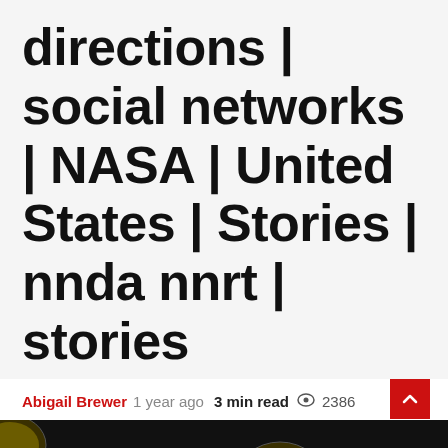directions | social networks | NASA | United States | Stories | nnda nnrt | stories
Abigail Brewer  1 year ago  3 min read  2386
[Figure (photo): Dark background with multiple round yellowish coin/petri dish objects arranged in rows]